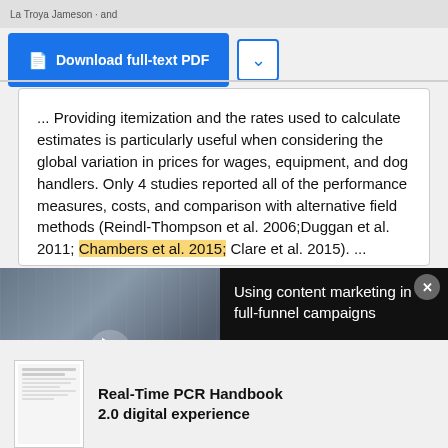La Troya Jameson · and
[Figure (screenshot): Download full-text PDF button (blue) and chevron dropdown button]
... Providing itemization and the rates used to calculate estimates is particularly useful when considering the global variation in prices for wages, equipment, and dog handlers. Only 4 studies reported all of the performance measures, costs, and comparison with alternative field methods (Reindl-Thompson et al. 2006;Duggan et al. 2011; Chambers et al. 2015; Clare et al. 2015). ...
[Figure (screenshot): Video overlay: 'Using content marketing in full-funnel campaigns' with office thumbnail and play button, and close (X) button]
Real-Time PCR Handbook 2.0 digital experience